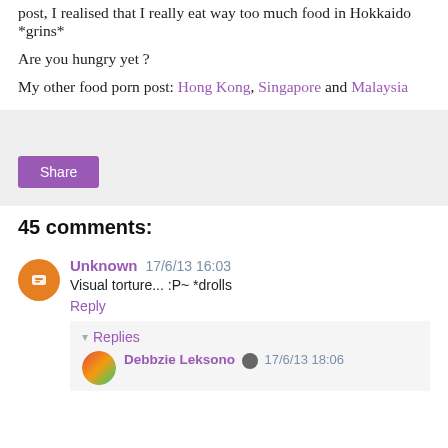post, I realised that I really eat way too much food in Hokkaido *grins*
Are you hungry yet ?
My other food porn post: Hong Kong, Singapore and Malaysia
[Figure (screenshot): Share button widget area with light gray background]
45 comments:
Unknown  17/6/13 16:03
Visual torture... :P~ *drolls
Reply
▾ Replies
Debbzie Leksono  17/6/13 18:06